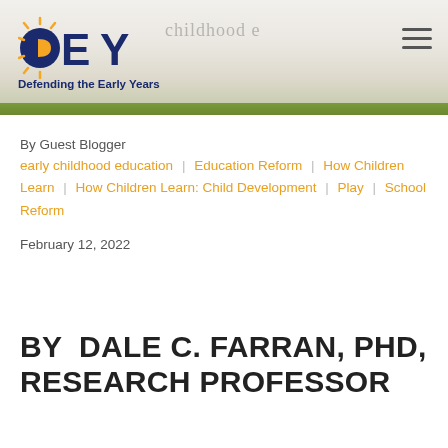DEY Defending the Early Years
By Guest Blogger
early childhood education | Education Reform | How Children Learn | How Children Learn: Child Development | Play | School Reform
February 12, 2022
BY DALE C. FARRAN, PHD, RESEARCH PROFESSOR